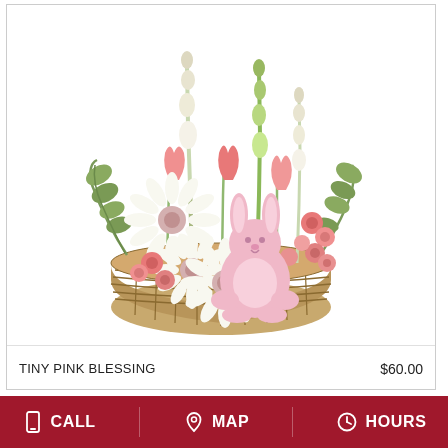[Figure (photo): A flower arrangement in a wicker basket featuring white gerbera daisies with pink centers, pink spray roses, pink tulips, white snapdragons, and a small pink plush bunny toy nestled among the flowers, with eucalyptus greenery]
TINY PINK BLESSING
$60.00
CALL  MAP  HOURS